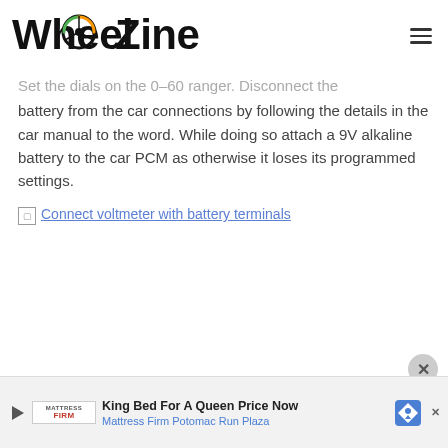WheelZine
Set the dials on the 0-60 ranger. Disconnect the battery from the car connections by following the details in the car manual to the word. While doing so attach a 9V alkaline battery to the car PCM as otherwise it loses its programmed settings.
[Figure (photo): Broken image placeholder for: Connect voltmeter with battery terminals]
King Bed For A Queen Price Now Mattress Firm Potomac Run Plaza